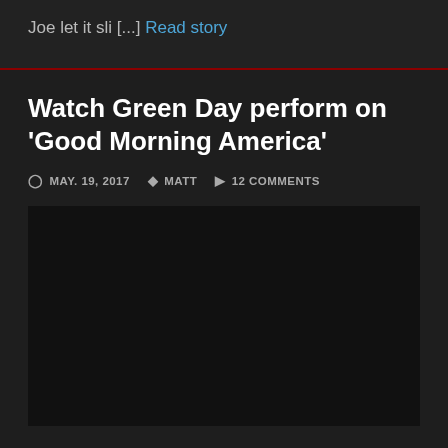Joe let it sli [...] Read story
Watch Green Day perform on 'Good Morning America'
MAY. 19, 2017  MATT  12 COMMENTS
[Figure (other): Embedded video placeholder (dark background area)]
Green Day just wrapped up their set at the season kickoff of Good Morning America's Summer Concert Series. The band blitzed through a handful of songs,